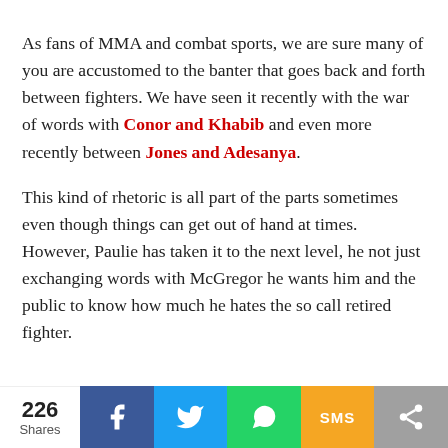As fans of MMA and combat sports, we are sure many of you are accustomed to the banter that goes back and forth between fighters. We have seen it recently with the war of words with Conor and Khabib and even more recently between Jones and Adesanya.
This kind of rhetoric is all part of the parts sometimes even though things can get out of hand at times. However, Paulie has taken it to the next level, he not just exchanging words with McGregor he wants him and the public to know how much he hates the so call retired fighter.
226 Shares